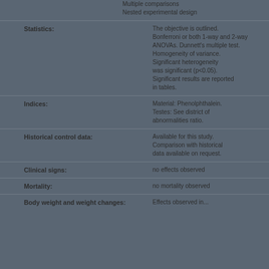Multiple comparisons
Nested experimental design
Statistics:
The objective is outlined. Bonferroni or both 1-way and 2-way ANOVAs. Dunnett's multiple test. Homogeneity of variance. Significant heterogeneity was significant (p<0.05). Significant results are reported in tables.
Indices:
Material: Phenolphthalein. Testes: See district. Abnormalities ratio.
Historical control data:
Available for this study. Comparison with historical data available on request.
Clinical signs:
no effects observed
Mortality:
no mortality observed
Body weight and weight changes:
Effects observed in...